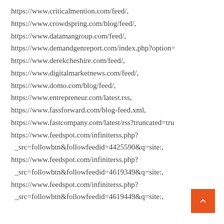https://www.criticalmention.com/feed/,
https://www.crowdspring.com/blog/feed/,
https://www.datamangroup.com/feed/,
https://www.demandgenreport.com/index.php?option=
https://www.derekcheshire.com/feed/,
https://www.digitalmarketnews.com/feed/,
https://www.domo.com/blog/feed/,
https://www.entrepreneur.com/latest.rss,
https://www.fassforward.com/blog-feed.xml,
https://www.fastcompany.com/latest/rss?truncated=tru
https://www.feedspot.com/infiniterss.php?
_src=followbtn&followfeedid=4425590&q=site:,
https://www.feedspot.com/infiniterss.php?
_src=followbtn&followfeedid=4619349&q=site:,
https://www.feedspot.com/infiniterss.php?
_src=followbtn&followfeedid=4619449&q=site:,